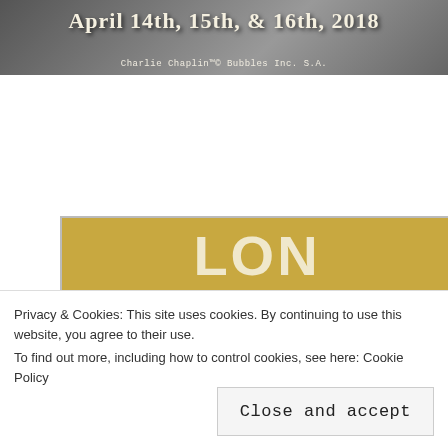[Figure (illustration): Top banner with textured background showing Charlie Chaplin themed event dates]
April 14th, 15th, & 16th, 2018
Charlie Chaplin™© Bubbles Inc. S.A.
[Figure (photo): Lon Chaney 'Man of 1000 Faces' vintage poster with large bold text and black-and-white photo of Lon Chaney]
Privacy & Cookies: This site uses cookies. By continuing to use this website, you agree to their use.
To find out more, including how to control cookies, see here: Cookie Policy
Close and accept